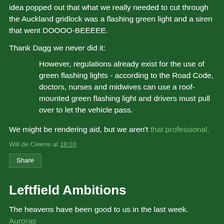idea popped out that what we really needed to cut through the Auckland gridlock was a flashing green light and a siren that went DOOOO-BEEEEE.
Thank Dagg we never did it:
However, regulations already exist for the use of green flashing lights - according to the Road Code, doctors, nurses and midwives can use a roof-mounted green flashing light and drivers must pull over to let the vehicle pass.
We might be rendering aid, but we aren't that professional.
Will de Cleene at 18:03
Share
Leftfield Ambitions
The heavens have been good to us in the last week. Auroras